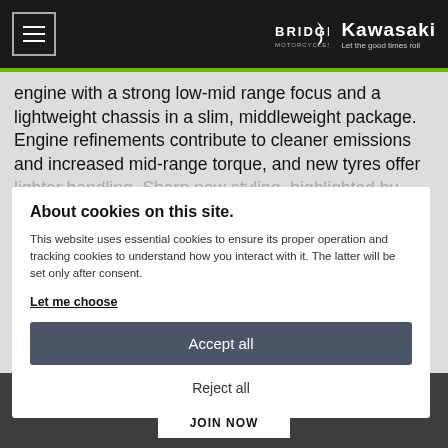Bridge Motorcycles | Kawasaki — Let the good times roll
engine with a strong low-mid range focus and a lightweight chassis in a slim, middleweight package. Engine refinements contribute to cleaner emissions and increased mid-range torque, and new tyres offer lighter handling. Sharp new styling, highlighted by new LED headlights and TFT colour instrumentation, delivers a sportier appearance and even stronger Ninja family looks.
About cookies on this site.
This website uses essential cookies to ensure its proper operation and tracking cookies to understand how you interact with it. The latter will be set only after consent.
Let me choose
Accept all
Reject all
GET THE LATEST NEWS & OFFERS STRAIGHT TO YOUR INBOX
JOIN NOW